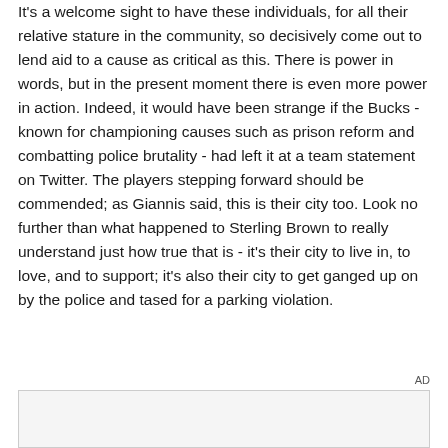It's a welcome sight to have these individuals, for all their relative stature in the community, so decisively come out to lend aid to a cause as critical as this. There is power in words, but in the present moment there is even more power in action. Indeed, it would have been strange if the Bucks - known for championing causes such as prison reform and combatting police brutality - had left it at a team statement on Twitter. The players stepping forward should be commended; as Giannis said, this is their city too. Look no further than what happened to Sterling Brown to really understand just how true that is - it's their city to live in, to love, and to support; it's also their city to get ganged up on by the police and tased for a parking violation.
[Figure (other): Advertisement placeholder box with AD label in bottom right corner]